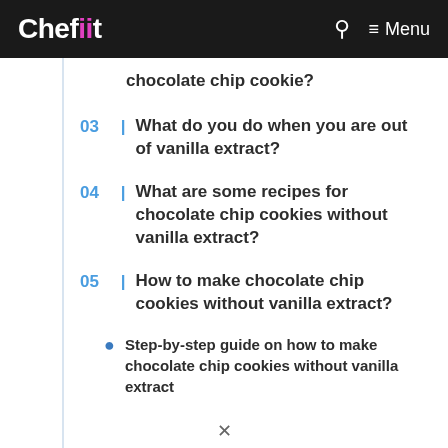Chefiit | Menu
chocolate chip cookie?
03 | What do you do when you are out of vanilla extract?
04 | What are some recipes for chocolate chip cookies without vanilla extract?
05 | How to make chocolate chip cookies without vanilla extract?
Step-by-step guide on how to make chocolate chip cookies without vanilla extract